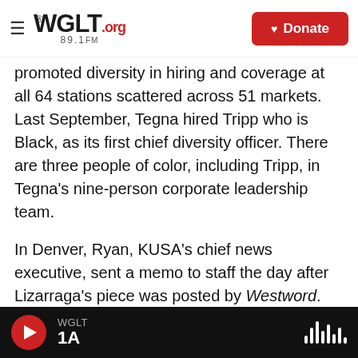WGLT.org 89.1FM — Donate
promoted diversity in hiring and coverage at all 64 stations scattered across 51 markets. Last September, Tegna hired Tripp who is Black, as its first chief diversity officer. There are three people of color, including Tripp, in Tegna's nine-person corporate leadership team.
In Denver, Ryan, KUSA's chief news executive, sent a memo to staff the day after Lizarraga's piece was posted by Westword.
"We continue to prioritize diversity, equity and inclusion in our newsroom and at the station," Ryan
WGLT 1A